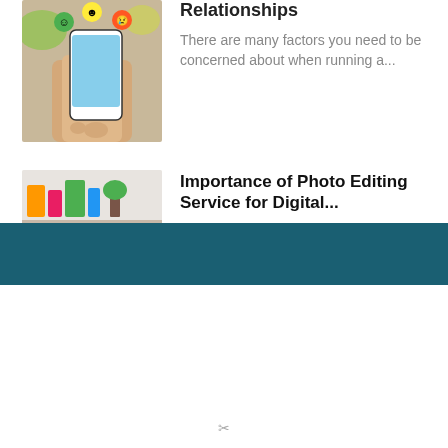[Figure (photo): Person holding a smartphone with colorful emoji/reaction icons floating above it]
Relationships
There are many factors you need to be concerned about when running a...
[Figure (photo): Person at a desk with a computer showing a photo editing interface, with a yellow banner reading 'of Photo Editing Service for Digita']
Importance of Photo Editing Service for Digital...
The photo editing service has an intensive role in digital marketing. Learn how phot...